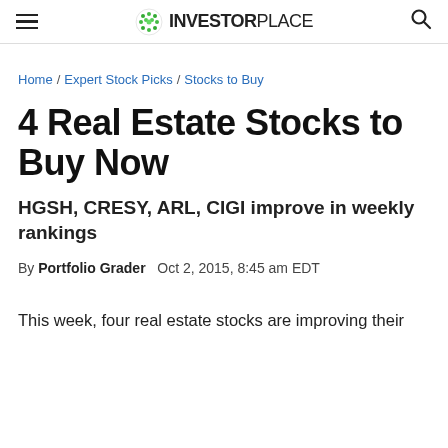InvestorPlace
Home / Expert Stock Picks / Stocks to Buy
4 Real Estate Stocks to Buy Now
HGSH, CRESY, ARL, CIGI improve in weekly rankings
By Portfolio Grader   Oct 2, 2015, 8:45 am EDT
This week, four real estate stocks are improving their